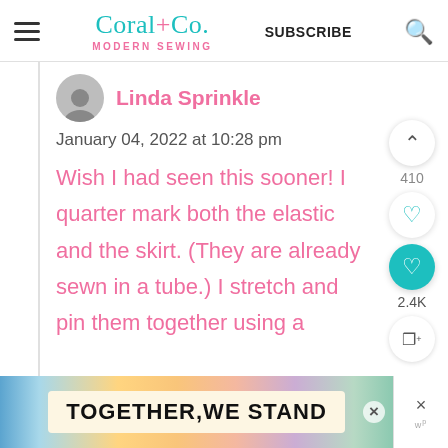Coral+Co. MODERN SEWING | SUBSCRIBE
Linda Sprinkle
January 04, 2022 at 10:28 pm
Wish I had seen this sooner! I quarter mark both the elastic and the skirt. (They are already sewn in a tube.) I stretch and pin them together using a
[Figure (screenshot): Ad banner reading TOGETHER WE STAND with colorful background and close button]